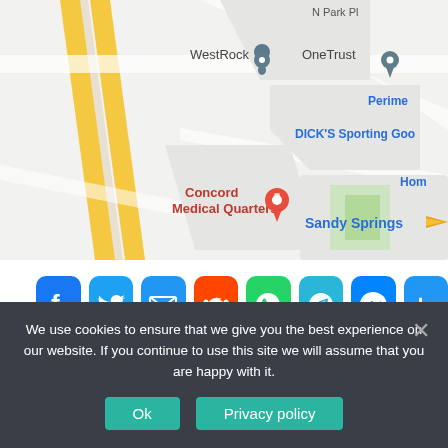[Figure (map): Google Maps screenshot showing Sandy Springs area with labeled locations: WestRock, OneTrust, N Park Pl, Perimeter, DICK'S Sporting Goods, Home (truncated), Sandy Springs arrow, Concord Medical Quarters (red pin). Highway interchange with yellow roads visible on left side.]
[Figure (infographic): Social media share buttons row: Facebook (blue), Twitter (blue), Email (blue), Reddit (orange-red), WhatsApp (green), Telegram (light blue), Messenger (blue), Share/More (blue)]
We use cookies to ensure that we give you the best experience on our website. If you continue to use this site we will assume that you are happy with it.